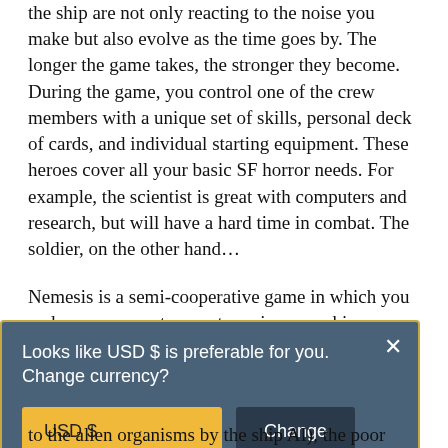the ship are not only reacting to the noise you make but also evolve as the time goes by. The longer the game takes, the stronger they become. During the game, you control one of the crew members with a unique set of skills, personal deck of cards, and individual starting equipment. These heroes cover all your basic SF horror needs. For example, the scientist is great with computers and research, but will have a hard time in combat. The soldier, on the other hand…
Nemesis is a semi-cooperative game in which you and your crewmates must survive on a ship
[Figure (screenshot): A modal dialog box with a dark blue-gray background and gold border. Text reads 'Looks like USD $ is preferable for you. Change currency?' with a gold 'USD $' button and a dark 'Change' button, plus an X close button.]
to the alien organisms by the ship AI), the poor